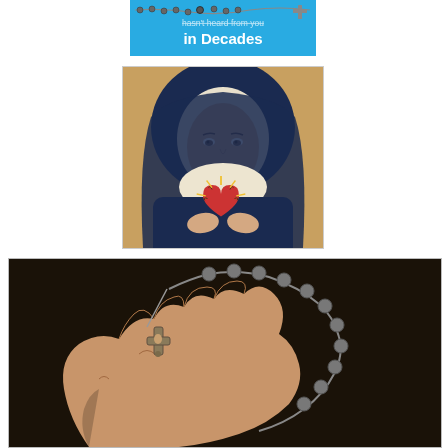[Figure (illustration): Banner/meme image with blue background showing text 'hasn't heard from you in Decades' with a rosary illustrated across it]
[Figure (illustration): Classical religious painting of the Sorrowful or Immaculate Heart of Mary — a woman wearing a dark blue veil and white head covering, with an exposed sacred heart on her chest surrounded by thorns and rays of light]
[Figure (photo): Close-up photograph of a hand holding a silver crucifix rosary against a dark background]